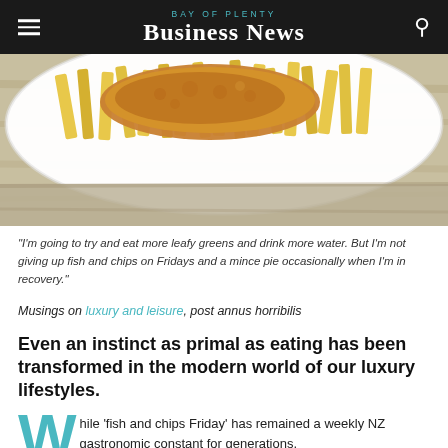BAY OF PLENTY BUSINESS NEWS
[Figure (photo): Close-up photo of battered fish and chips served on a white plate on a wooden surface]
"I'm going to try and eat more leafy greens and drink more water. But I'm not giving up fish and chips on Fridays and a mince pie occasionally when I'm in recovery."
Musings on luxury and leisure, post annus horribilis
Even an instinct as primal as eating has been transformed in the modern world of our luxury lifestyles.
While 'fish and chips Friday' has remained a weekly NZ gastronomic constant for generations,